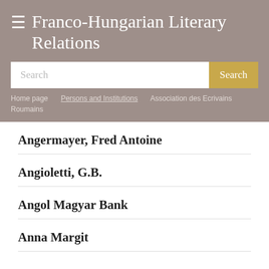Franco-Hungarian Literary Relations
Search
Home page · Persons and Institutions · Association des Ecrivains Roumains
Angermayer, Fred Antoine
Angioletti, G.B.
Angol Magyar Bank
Anna Margit